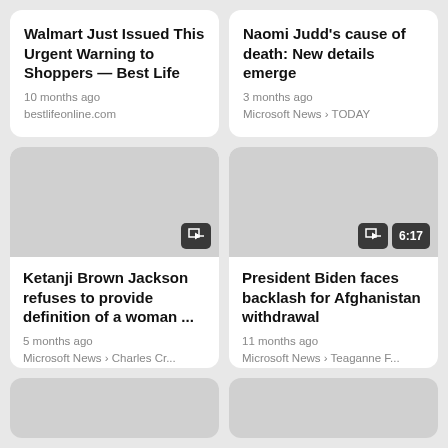Walmart Just Issued This Urgent Warning to Shoppers — Best Life
10 months ago
bestlifeonline.com
Naomi Judd's cause of death: New details emerge
3 months ago
Microsoft News › TODAY
[Figure (photo): Thumbnail image placeholder for Ketanji Brown Jackson article with share icon badge]
Ketanji Brown Jackson refuses to provide definition of a woman ...
5 months ago
Microsoft News › Charles Cr...
[Figure (photo): Thumbnail image placeholder for President Biden Afghanistan article with share icon and 6:17 video duration badge]
President Biden faces backlash for Afghanistan withdrawal
11 months ago
Microsoft News › Teaganne F...
[Figure (photo): Partially visible thumbnail image placeholder bottom-left]
[Figure (photo): Partially visible thumbnail image placeholder bottom-right]